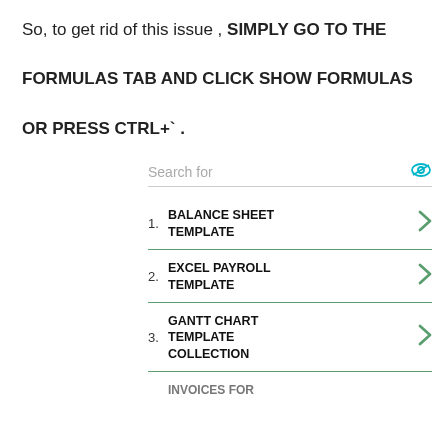So, to get rid of this issue , SIMPLY GO TO THE FORMULAS TAB AND CLICK SHOW FORMULAS OR PRESS CTRL+` .
[Figure (screenshot): A search interface with a search bar labeled 'Search for' with a teal eye icon, followed by a numbered list of items: 1. BALANCE SHEET TEMPLATE, 2. EXCEL PAYROLL TEMPLATE, 3. GANTT CHART TEMPLATE COLLECTION, and partially visible 4. INVOICES FOR. Each item has a green chevron arrow on the right and a green divider line below.]